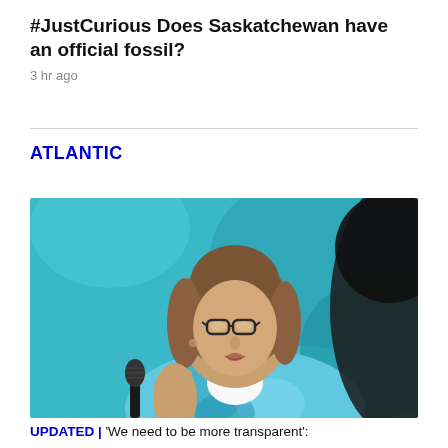#JustCurious Does Saskatchewan have an official fossil?
3 hr ago
ATLANTIC
[Figure (photo): A woman with glasses and brown hair speaks at a microphone, wearing a blue patterned jacket, with a blurred dark figure in the foreground and a teal background.]
UPDATED | 'We need to be more transparent':